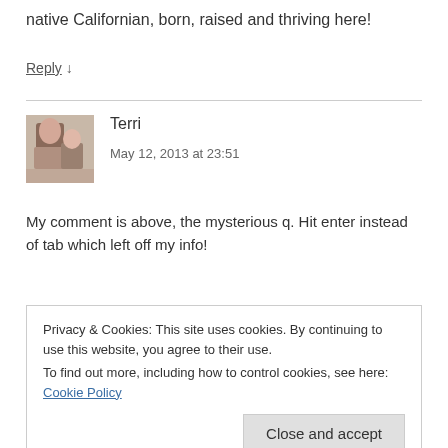native Californian, born, raised and thriving here!
Reply ↓
[Figure (photo): Avatar photo of Terri showing two people]
Terri
May 12, 2013 at 23:51
My comment is above, the mysterious q. Hit enter instead of tab which left off my info!
Privacy & Cookies: This site uses cookies. By continuing to use this website, you agree to their use.
To find out more, including how to control cookies, see here: Cookie Policy
Close and accept